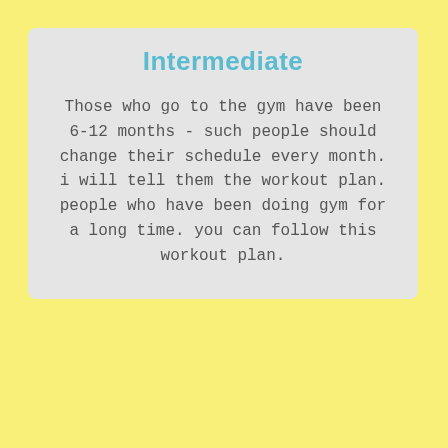Intermediate
Those who go to the gym have been 6-12 months - such people should change their schedule every month. i will tell them the workout plan. people who have been doing gym for a long time. you can follow this workout plan.